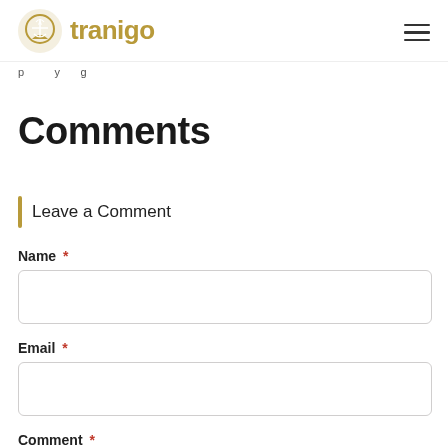tranigo
p  y g
Comments
Leave a Comment
Name *
Email *
Comment *